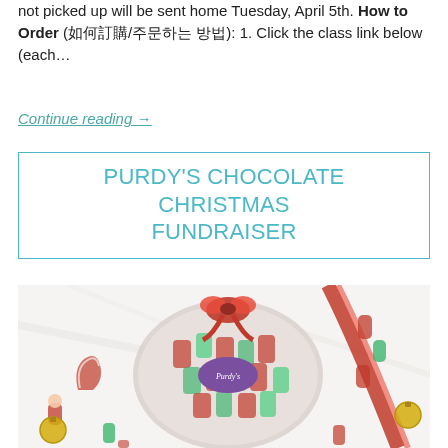not picked up will be sent home Tuesday, April 5th. How to Order (如何訂購/주문하는 방법): 1. Click the class link below (each…
Continue reading →
PURDY'S CHOCOLATE CHRISTMAS FUNDRAISER
[Figure (photo): Purdy's Chocolates bag of Christmas-wrapped chocolates (Santa and holiday figures) with a red ribbon bow, scattered chocolate figures, and gold ornament balls on a marble white surface.]